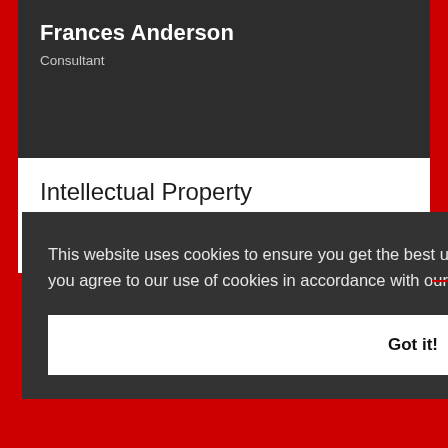Frances Anderson
Consultant
Intellectual Property
Technology Law
This website uses cookies to ensure you get the best user experience. By continuing to use this website, you agree to our use of cookies in accordance with our Privacy & Cookies Policy. Learn more
Got it!